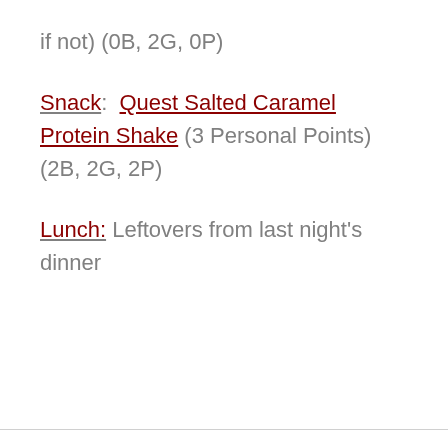if not) (0B, 2G, 0P)
Snack:  Quest Salted Caramel Protein Shake (3 Personal Points) (2B, 2G, 2P)
Lunch: Leftovers from last night's dinner